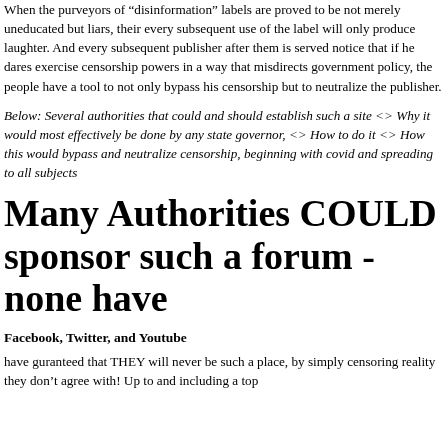When the purveyors of “disinformation” labels are proved to be not merely uneducated but liars, their every subsequent use of the label will only produce laughter. And every subsequent publisher after them is served notice that if he dares exercise censorship powers in a way that misdirects government policy, the people have a tool to not only bypass his censorship but to neutralize the publisher.
Below: Several authorities that could and should establish such a site <> Why it would most effectively be done by any state governor, <> How to do it <> How this would bypass and neutralize censorship, beginning with covid and spreading to all subjects
Many Authorities COULD sponsor such a forum - none have
Facebook, Twitter, and Youtube
have guranteed that THEY will never be such a place, by simply censoring reality they don’t agree with! Up to and including a top